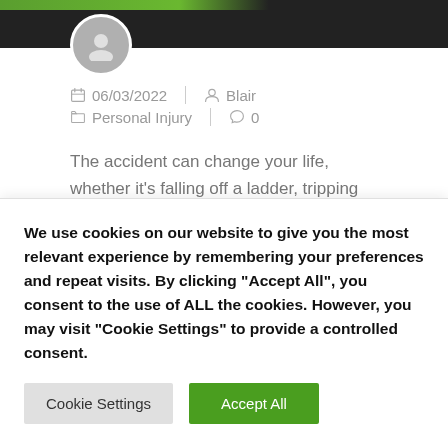[Figure (photo): Dark header image with green accent bar and user avatar placeholder icon]
06/03/2022  |  Blair  |  Personal Injury  |  0
The accident can change your life, whether it's falling off a ladder, tripping on a stairwell, being burned by a defective product, or being hit by a car. If you've had a severe personal injury, you're well aware of this. You must ascertain who was responsible if the accident was not
We use cookies on our website to give you the most relevant experience by remembering your preferences and repeat visits. By clicking "Accept All", you consent to the use of ALL the cookies. However, you may visit "Cookie Settings" to provide a controlled consent.